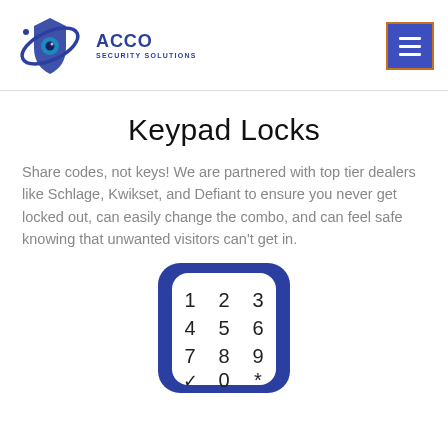[Figure (logo): ACCO Security Solutions logo with blue shield and orbit graphic]
[Figure (illustration): Blue keypad lock showing numeric keypad with digits 1-9, 0, checkmark and asterisk]
Keypad Locks
Share codes, not keys! We are partnered with top tier dealers like Schlage, Kwikset, and Defiant to ensure you never get locked out, can easily change the combo, and can feel safe knowing that unwanted visitors can't get in.